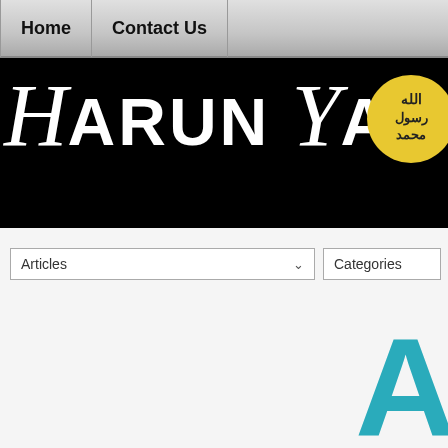Home | Contact Us
[Figure (logo): Harun Yahya website logo on black background with stylized script text and Islamic emblem]
Articles (dropdown) | Categories (dropdown)
A
| Title of work |
| --- |
| 1-20 / Total: 2896 |